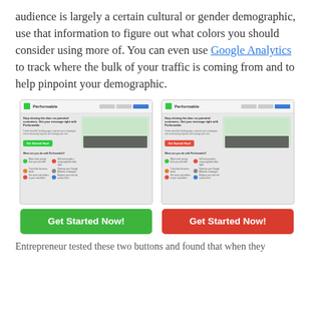audience is largely a certain cultural or gender demographic, use that information to figure out what colors you should consider using more of. You can even use Google Analytics to track where the bulk of your traffic is coming from and to help pinpoint your demographic.
[Figure (screenshot): Two side-by-side screenshots of the Performable website, each showing the same landing page layout. The left screenshot has a green 'Get Started Now!' button below it, and the right screenshot has a red 'Get Started Now!' button below it.]
Entrepreneur tested these two buttons and found that when they